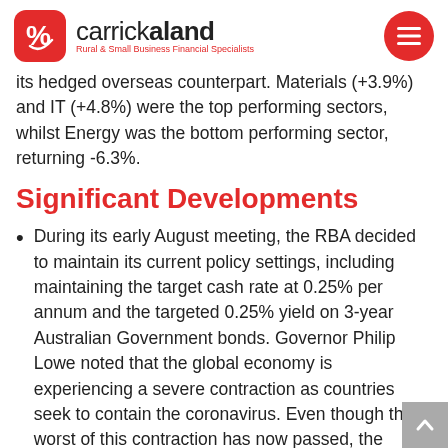carrickaland — Rural & Small Business Financial Specialists
its hedged overseas counterpart. Materials (+3.9%) and IT (+4.8%) were the top performing sectors, whilst Energy was the bottom performing sector, returning -6.3%.
Significant Developments
During its early August meeting, the RBA decided to maintain its current policy settings, including maintaining the target cash rate at 0.25% per annum and the targeted 0.25% yield on 3-year Australian Government bonds. Governor Philip Lowe noted that the global economy is experiencing a severe contraction as countries seek to contain the coronavirus. Even though the worst of this contraction has now passed, the outlook remains uncertain. The recovery is expected to be gradual and its shape is dependent on containment of the virus. While infection rates have declined in some countries, they are still very high and rising in others.